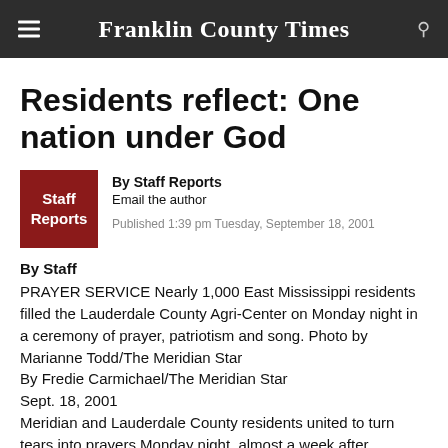Franklin County Times
Residents reflect: One nation under God
By Staff Reports
Email the author
Published 1:39 pm Tuesday, September 18, 2001
By Staff
PRAYER SERVICE Nearly 1,000 East Mississippi residents filled the Lauderdale County Agri-Center on Monday night in a ceremony of prayer, patriotism and song. Photo by Marianne Todd/The Meridian Star
By Fredie Carmichael/The Meridian Star
Sept. 18, 2001
Meridian and Lauderdale County residents united to turn tears into prayers Monday night, almost a week after terrorists attacked New York and Washington.
Nearly 1,000 people attended an interdenominational prayer